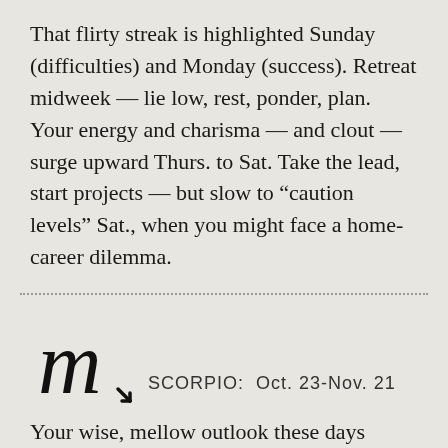That flirty streak is highlighted Sunday (difficulties) and Monday (success). Retreat midweek — lie low, rest, ponder, plan. Your energy and charisma — and clout — surge upward Thurs. to Sat. Take the lead, start projects — but slow to “caution levels” Sat., when you might face a home-career dilemma.
SCORPIO: Oct. 23-Nov. 21
Your wise, mellow outlook these days favours far travel, internationalism, academia, law, publishing, statistics, insurance and fame. Pick one or two! Intimate and financial prospects now